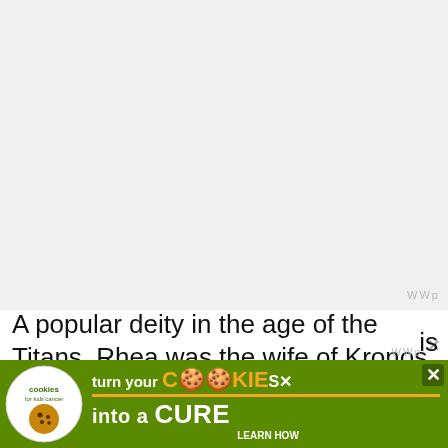[Figure (other): Large blank/white advertisement placeholder area at the top of the page]
A popular deity in the age of the Titans, Rhea was the wife of Kronos, another Titan who dethroned his father Uranus to become the new ruler... she is
[Figure (other): Advertisement banner: 'turn your COOKIES into a CURE LEARN HOW' with cookies for kids cancer logo and close button]